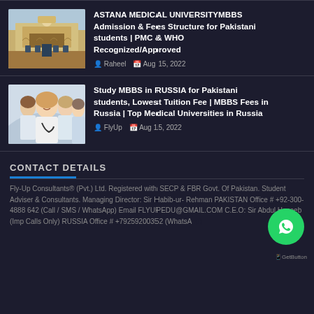ASTANA MEDICAL UNIVERSITY MBBS Admission & Fees Structure for Pakistani students | PMC & WHO Recognized/Approved — Raheel, Aug 15, 2022
Study MBBS in RUSSIA for Pakistani students, Lowest Tuition Fee | MBBS Fees in Russia | Top Medical Universities in Russia — FlyUp, Aug 15, 2022
CONTACT DETAILS
Fly-Up Consultants® (Pvt.) Ltd. Registered with SECP & FBR Govt. Of Pakistan. Student Adviser & Consultants. Managing Director: Sir Habib-ur- Rehman PAKISTAN Office # +92-300-4888 642 (Call / SMS / WhatsApp) Email FLYUPEDU@GMAIL.COM C.E.O: Sir Abdul Haseeb (Imp Calls Only) RUSSIA Office # +79259200352 (WhatsApp